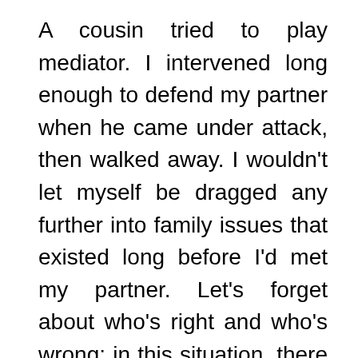A cousin tried to play mediator. I intervened long enough to defend my partner when he came under attack, then walked away. I wouldn't let myself be dragged any further into family issues that existed long before I'd met my partner. Let's forget about who's right and who's wrong; in this situation, there is fault on all sides.
Yesterday's events made me sad and, in many ways, demonstrated just how cruel we can be to each other. Yet they were a reminder of the fact that we have the